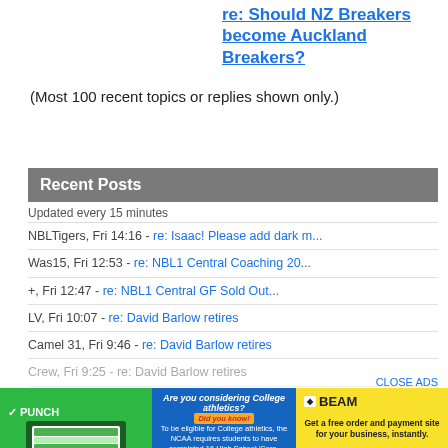re: Should NZ Breakers become Auckland Breakers?
(Most 100 recent topics or replies shown only.)
Recent Posts
Updated every 15 minutes
NBLTigers, Fri 14:16 - re: Isaac! Please add dark m...
Was15, Fri 12:53 - re: NBL1 Central Coaching 20...
+, Fri 12:47 - re: NBL1 Central GF Sold Out...
LV, Fri 10:07 - re: David Barlow retires
Camel 31, Fri 9:46 - re: David Barlow retires
Crew, Fri 9:25 - re: David Barlow retires
[Figure (advertisement): PUNCH green ad - Insightful time tracking that earns you more.]
[Figure (advertisement): College Consulting blue ad - Are you considering College athletics?]
[Figure (advertisement): BEAM yellow ad - Get a free order and payment site for your business, instantly.]